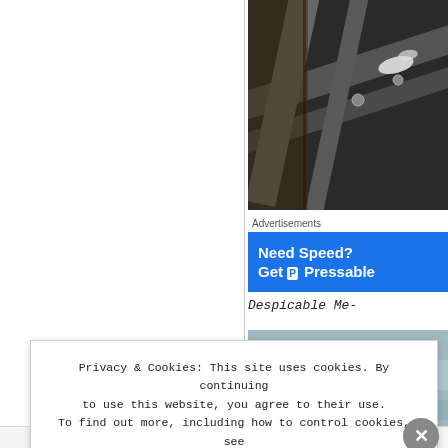[Figure (photo): Close-up photo of metal structural framing or scaffolding with bolts and brackets, dark industrial setting]
Advertisements
[Figure (other): Advertisement banner: Need Speed? Get P Pressable - blue background with white bold text]
Despicable Me-
[Figure (photo): Partially visible second photo, blurred/cropped]
Privacy & Cookies: This site uses cookies. By continuing to use this website, you agree to their use. To find out more, including how to control cookies, see here: Cookie Policy
Close and accept
RECENT THREAD